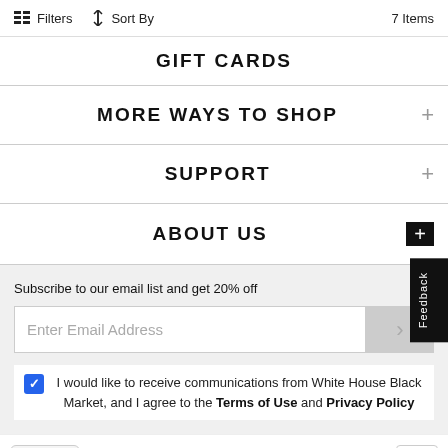Filters   Sort By   7 Items
GIFT CARDS
MORE WAYS TO SHOP
SUPPORT
ABOUT US
Subscribe to our email list and get 20% off
Enter Email Address
I would like to receive communications from White House Black Market, and I agree to the Terms of Use and Privacy Policy
Chat with a style expert
Sign up for texts!
Feedback